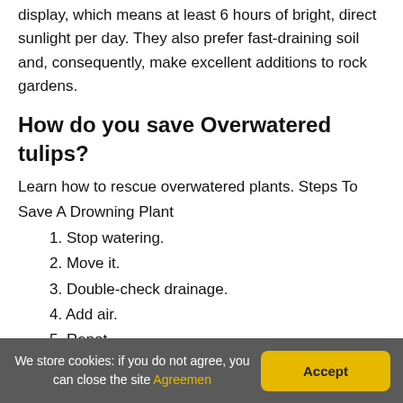display, which means at least 6 hours of bright, direct sunlight per day. They also prefer fast-draining soil and, consequently, make excellent additions to rock gardens.
How do you save Overwatered tulips?
Learn how to rescue overwatered plants. Steps To Save A Drowning Plant
1. Stop watering.
2. Move it.
3. Double-check drainage.
4. Add air.
5. Repot.
6. Mist wilted leaves.
7. Water when dry.
We store cookies: if you do not agree, you can close the site Agreemen